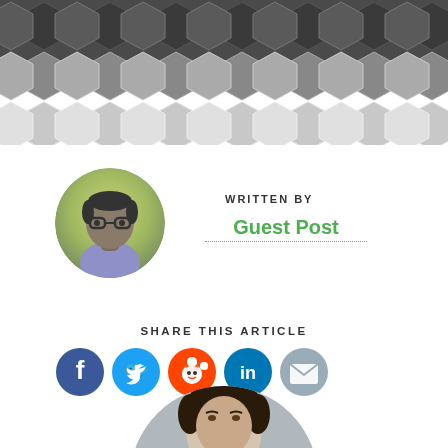[Figure (illustration): Top banner with hexagonal honeycomb pattern in dark gray/charcoal tones fading from dark at top to lighter gray shapes at bottom]
[Figure (illustration): Circular avatar of a cartoon person with glasses, short hair, wearing a purple/blue shirt, on a yellow-green gradient background]
WRITTEN BY
Guest Post
SHARE THIS ARTICLE
[Figure (infographic): Row of five social media share icons: Facebook (blue), Twitter (light blue), Reddit (orange-red), LinkedIn (blue), Email (gray)]
[Figure (photo): Circular cropped photo of a man with dark hair, looking at camera, on a light gray background — partially cut off at bottom of page]